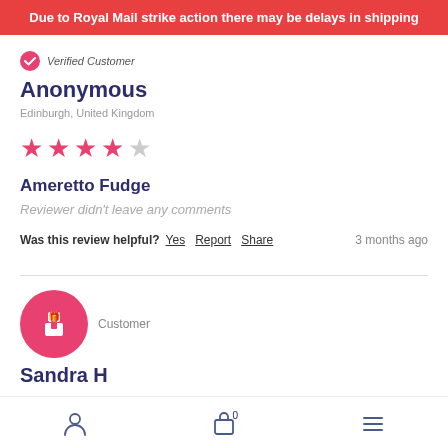Due to Royal Mail strike action there may be delays in shipping
Verified Customer
Anonymous
Edinburgh, United Kingdom
★★★★☆ (4 out of 5 stars)
Ameretto Fudge
Reviewer didn't leave any comments
Was this review helpful? Yes Report Share — 3 months ago
Customer
Sandra H